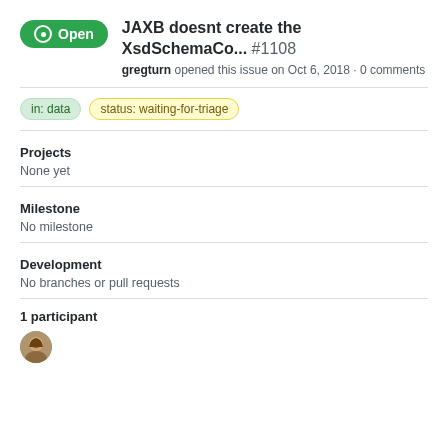JAXB doesnt create the XsdSchemaCo... #1108
gregturn opened this issue on Oct 6, 2018 · 0 comments
in: data
status: waiting-for-triage
Projects
None yet
Milestone
No milestone
Development
No branches or pull requests
1 participant
[Figure (photo): Avatar photo of participant gregturn]